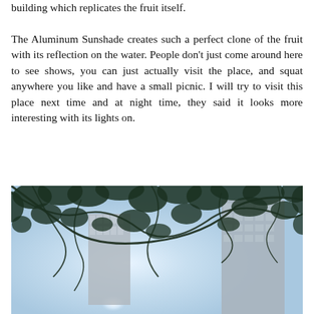building which replicates the fruit itself.

The Aluminum Sunshade creates such a perfect clone of the fruit with its reflection on the water. People don't just come around here to see shows, you can just actually visit the place, and squat anywhere you like and have a small picnic. I will try to visit this place next time and at night time, they said it looks more interesting with its lights on.
[Figure (photo): Photo taken looking upward through tree branches with dark silhouetted leaves against a bright light blue sky, with tall modern glass/grey buildings visible in the background on either side.]